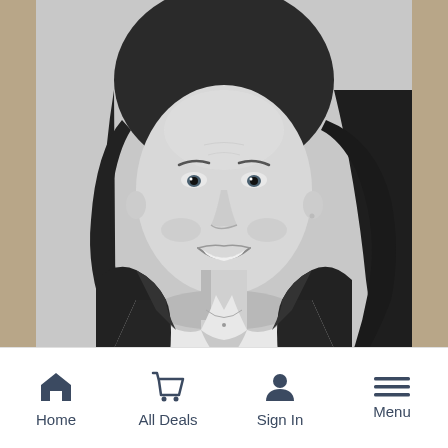[Figure (photo): Black and white professional headshot of a smiling woman with dark hair, wearing a dark blazer over a white collared shirt, with a thin necklace. Background is light gray.]
Home   All Deals   Sign In   Menu